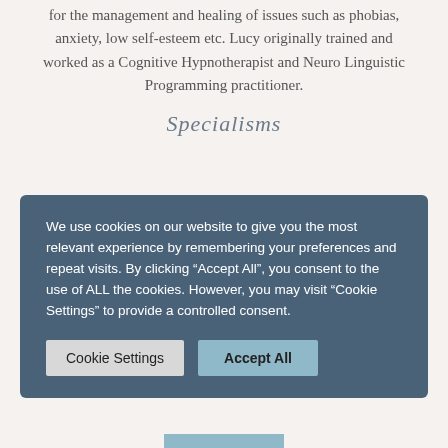for the management and healing of issues such as phobias, anxiety, low self-esteem etc. Lucy originally trained and worked as a Cognitive Hypnotherapist and Neuro Linguistic Programming practitioner.
Specialisms
We use cookies on our website to give you the most relevant experience by remembering your preferences and repeat visits. By clicking “Accept All”, you consent to the use of ALL the cookies. However, you may visit “Cookie Settings” to provide a controlled consent.
Hypnotherapy Master Practitioner); NLP (Neuro Linguistic Programming Master Practitioner).